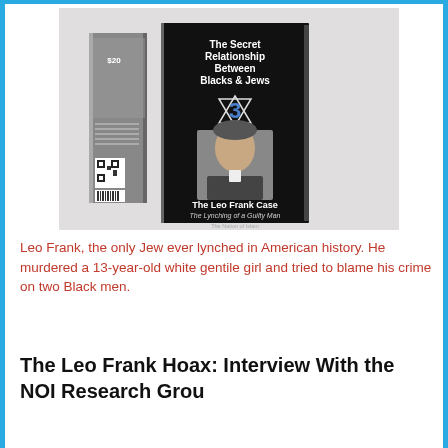[Figure (photo): Book cover of 'The Secret Relationship Between Blacks and Jews, Volume 3: The Leo Frank Case — The Lynching of a Guilty Man' by The Nation of Islam. Two copies of the book are shown — front cover and spine — on a light grey background. The front cover is black with white title text, a Star of David with a '3' inside, a black-and-white portrait photo of Leo Frank, and subtitle text at the bottom.]
Leo Frank, the only Jew ever lynched in American history. He murdered a 13-year-old white gentile girl and tried to blame his crime on two Black men.
The Leo Frank Hoax: Interview With the NOI Research Grou